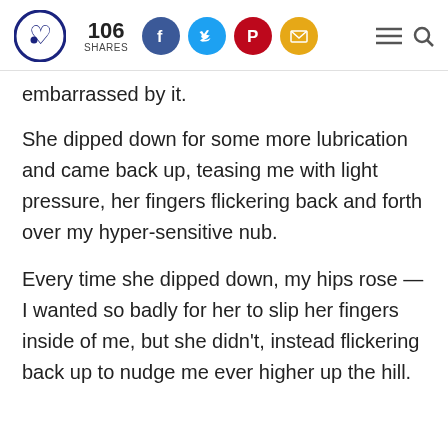106 SHARES [social icons: Facebook, Twitter, Pinterest, Email] [hamburger menu] [search]
embarrassed by it.
She dipped down for some more lubrication and came back up, teasing me with light pressure, her fingers flickering back and forth over my hyper-sensitive nub.
Every time she dipped down, my hips rose — I wanted so badly for her to slip her fingers inside of me, but she didn't, instead flickering back up to nudge me ever higher up the hill.